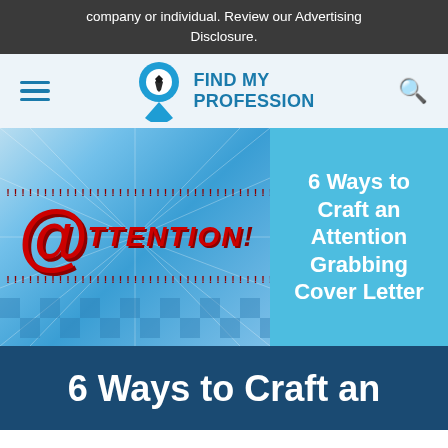company or individual. Review our Advertising Disclosure.
[Figure (logo): Find My Profession logo with location pin icon and text]
[Figure (illustration): Attention grabbing graphic with @ symbol and 'TTENTION!' text on blue burst background, paired with '6 Ways to Craft an Attention Grabbing Cover Letter' text on cyan background]
6 Ways to Craft an